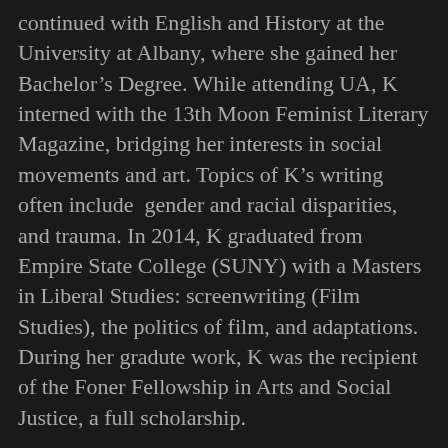continued with English and History at the University at Albany, where she gained her Bachelor's Degree. While attending UA, K interned with the 13th Moon Feminist Literary Magazine, bridging her interests in social movements and art. Topics of K's writing often include  gender and racial disparities, and trauma. In 2014, K graduated from Empire State College (SUNY) with a Masters in Liberal Studies: screenwriting (Film Studies), the politics of film, and adaptations. During her gradute work, K was the recipient of the Foner Fellowship in Arts and Social Justice, a full scholarship.
.
Published novels by K include the Civil War drama Blue Honor, the Second World War spy thriller OP-DEC:Operation Deceit, and the controversial dark fantasy, paranormal series The Trailokya